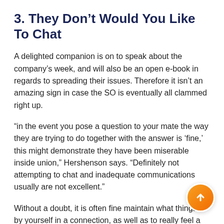3. They Don't Would You Like To Chat
A delighted companion is on to speak about the company's week, and will also be an open e-book in regards to spreading their issues. Therefore it isn't an amazing sign in case the SO is eventually all clammed right up.
“in the event you pose a question to your mate the way they are trying to do together with the answer is ‘fine,’ this might demonstrate they have been miserable inside union,” Hershenson says. “Definitely not attempting to chat and inadequate communications usually are not excellent.”
Without a doubt, it is often fine maintain what things to by yourself in a connection, as well as to really feel a bit silent some period. However really should not a practice that stays around in the industry very long.